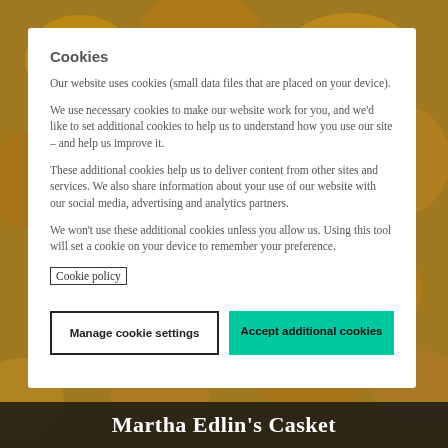[Figure (photo): Background image of decorative biscuits or pastries in warm golden/brown tones]
Cookies
Our website uses cookies (small data files that are placed on your device).
We use necessary cookies to make our website work for you, and we'd like to set additional cookies to help us to understand how you use our site – and help us improve it.
These additional cookies help us to deliver content from other sites and services. We also share information about your use of our website with our social media, advertising and analytics partners.
We won't use these additional cookies unless you allow us. Using this tool will set a cookie on your device to remember your preference.
Cookie policy
Manage cookie settings
Accept additional cookies
Martha Edlin's Casket